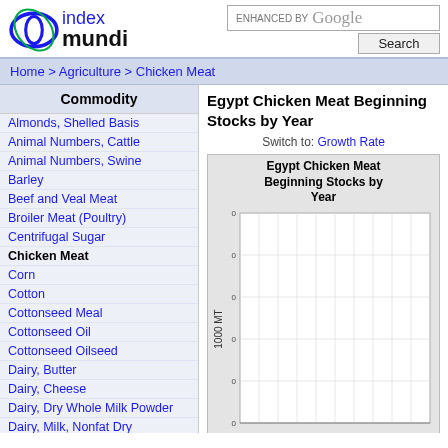index mundi
ENHANCED BY Google Search
Home > Agriculture > Chicken Meat
Commodity
Almonds, Shelled Basis
Animal Numbers, Cattle
Animal Numbers, Swine
Barley
Beef and Veal Meat
Broiler Meat (Poultry)
Centrifugal Sugar
Chicken Meat
Corn
Cotton
Cottonseed Meal
Cottonseed Oil
Cottonseed Oilseed
Dairy, Butter
Dairy, Cheese
Dairy, Dry Whole Milk Powder
Dairy, Milk, Nonfat Dry
Green Coffee
Egypt Chicken Meat Beginning Stocks by Year
Switch to: Growth Rate
[Figure (bar-chart): Bar chart showing Egypt Chicken Meat Beginning Stocks by Year. Y-axis labeled 1000 MT. Chart area visible with grid lines but bars not fully visible in the cropped view.]